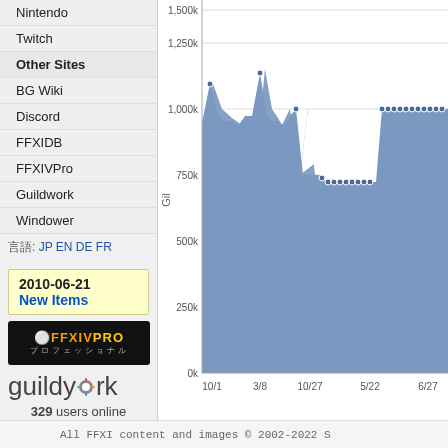Nintendo
Twitch
Other Sites
BG Wiki
Discord
FFXIDB
FFXIVPro
Guildwork
Windower
言語: JP EN DE FR
2010-06-21
New Items
[Figure (logo): FFXIV PRO banner logo with orange gear icon and Japanese text プロフェッショナル]
[Figure (logo): guildwork logo with colorful gear replacing the 'o']
329 users online
[Figure (area-chart): ]
All FFXI content and images © 2002-2022 S